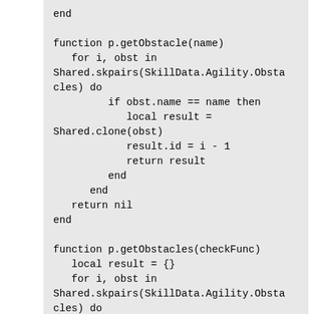end

function p.getObstacle(name)
   for i, obst in
Shared.skpairs(SkillData.Agility.Obstacles) do
         if obst.name == name then
            local result =
Shared.clone(obst)
            result.id = i - 1
            return result
         end
      end
   return nil
end

function p.getObstacles(checkFunc)
   local result = {}
   for i, obst in
Shared.skpairs(SkillData.Agility.Obstacles) do
      if checkFunc(obst) then